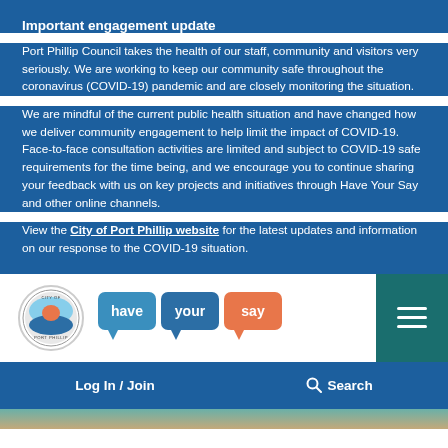Important engagement update
Port Phillip Council takes the health of our staff, community and visitors very seriously. We are working to keep our community safe throughout the coronavirus (COVID-19) pandemic and are closely monitoring the situation.
We are mindful of the current public health situation and have changed how we deliver community engagement to help limit the impact of COVID-19. Face-to-face consultation activities are limited and subject to COVID-19 safe requirements for the time being, and we encourage you to continue sharing your feedback with us on key projects and initiatives through Have Your Say and other online channels.
View the City of Port Phillip website for the latest updates and information on our response to the COVID-19 situation.
[Figure (logo): City of Port Phillip circular logo and 'have your say' speech bubble logo with teal menu button]
Log In / Join    Search